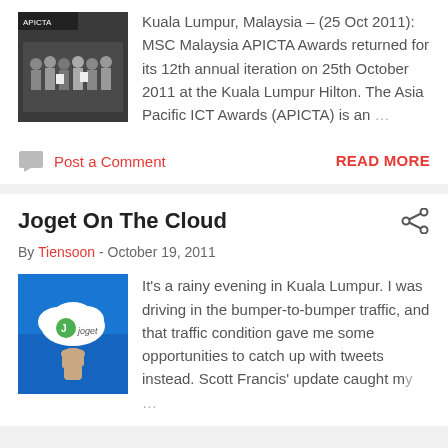[Figure (photo): Group photo of people at APICTA awards event]
Kuala Lumpur, Malaysia – (25 Oct 2011): MSC Malaysia APICTA Awards returned for its 12th annual iteration on 25th October 2011 at the Kuala Lumpur Hilton. The Asia Pacific ICT Awards (APICTA) is an …
Post a Comment
READ MORE
Joget On The Cloud
By Tiensoon - October 19, 2011
[Figure (photo): Hand holding a cloud with Joget logo on blue sky background]
It's a rainy evening in Kuala Lumpur. I was driving in the bumper-to-bumper traffic, and that traffic condition gave me some opportunities to catch up with tweets instead. Scott Francis' update caught my …